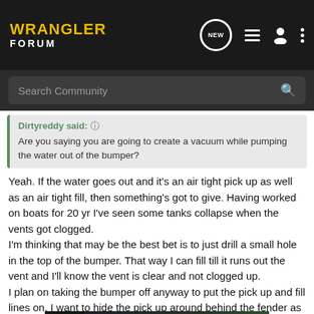WRANGLER FORUM
Search Community
Dirtyreddy said:
Are you saying you are going to create a vacuum while pumping the water out of the bumper?
Yeah. If the water goes out and it's an air tight pick up as well as an air tight fill, then something's got to give. Having worked on boats for 20 yr I've seen some tanks collapse when the vents got clogged.
I'm thinking that may be the best bet is to just drill a small hole in the top of the bumper. That way I can fill till it runs out the vent and I'll know the vent is clear and not clogged up.
I plan on taking the bumper off anyway to put the pick up and fill lines on. I want to hide the pick up around behind the fender as seen in this vid
http://bi...
[Figure (infographic): Overland Expo East 2022 advertisement banner. October 7-9, Arrington, VA. Plan Your Adventure button.]